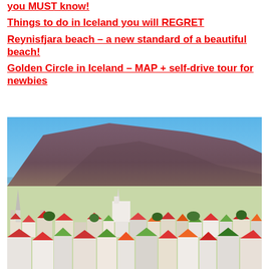you MUST know!
Things to do in Iceland you will REGRET
Reynisfjara beach – a new standard of a beautiful beach!
Golden Circle in Iceland – MAP + self-drive tour for newbies
[Figure (photo): Aerial panoramic view of Reykjavik city with colorful rooftops and a large mountain in the background under a blue sky]